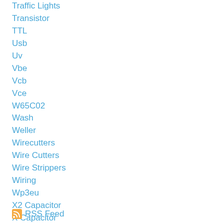Traffic Lights
Transistor
TTL
Usb
Uv
Vbe
Vcb
Vce
W65C02
Wash
Weller
Wirecutters
Wire Cutters
Wire Strippers
Wiring
Wp3eu
X2 Capacitor
X Capacitor
Y Capacitor
RSS Feed